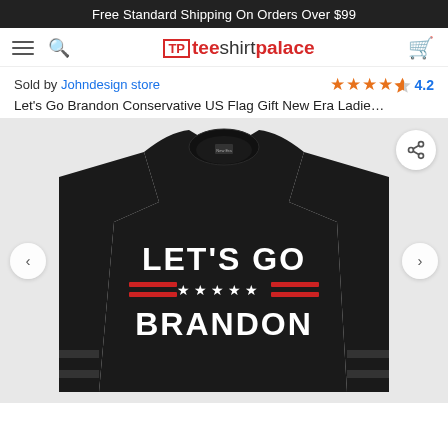Free Standard Shipping On Orders Over $99
[Figure (logo): Tee Shirt Palace logo with hamburger menu, search icon, and cart icon in navigation bar]
Sold by Johndesign store   4.2
Let's Go Brandon Conservative US Flag Gift New Era Ladie…
[Figure (photo): Black long-sleeve t-shirt with 'LET'S GO BRANDON' text printed in white bold letters on the front, with red stripes and white stars between the two lines of text, displayed on a light gray background.]